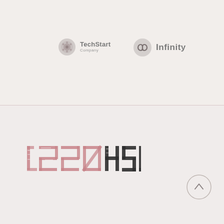[Figure (logo): TechStart Company logo: grey circular gear/dot icon with text 'TechStart' and 'Company' below]
[Figure (logo): Infinity logo: grey circle with infinity symbol icon and text 'Infinity' beside it]
[Figure (logo): 1220HSL logo in distressed typeface, '1220' in pink/rose color and 'HSL' in dark charcoal]
[Figure (other): Circular up-arrow button (back to top) in light grey outline style]